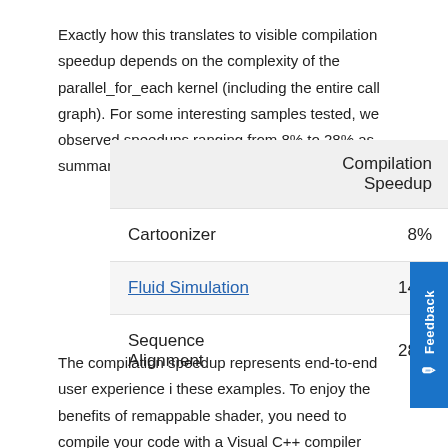Exactly how this translates to visible compilation speedup depends on the complexity of the parallel_for_each kernel (including the entire call graph). For some interesting samples tested, we observed speedups ranging from 8% to 28% as summarized below.
|  | Compilation Speedup |
| --- | --- |
| Cartoonizer | 8% |
| Fluid Simulation | 14% |
| Sequence Alignment | 28% |
The compilation speedup represents end-to-end user experience in these examples. To enjoy the benefits of remappable shader, you need to compile your code with a Visual C++ compiler that implements this feature. Due to runtime shader compilation, C++